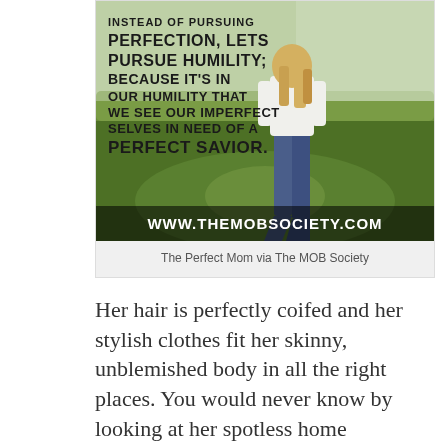[Figure (photo): Inspirational quote image overlaid on a photo of a woman walking in a grassy field, with large bold text reading: 'INSTEAD OF PURSUING PERFECTION, LETS PURSUE HUMILITY; BECAUSE IT'S IN OUR HUMILITY THAT WE SEE OUR IMPERFECT SELVES IN NEED OF A PERFECT SAVIOR.' and website URL 'WWW.THEMOBSOCIETY.COM' at the bottom.]
The Perfect Mom via The MOB Society
Her hair is perfectly coifed and her stylish clothes fit her skinny, unblemished body in all the right places. You would never know by looking at her spotless home